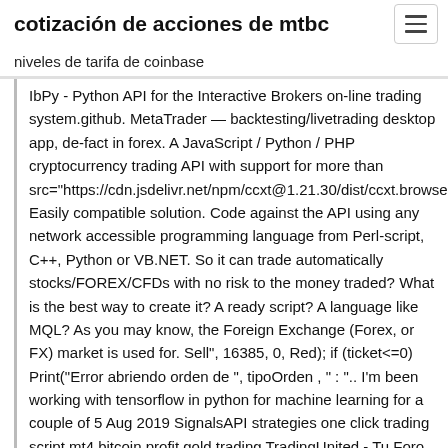cotización de acciones de mtbc
niveles de tarifa de coinbase
IbPy - Python API for the Interactive Brokers on-line trading system.github. MetaTrader — backtesting/livetrading desktop app, de-fact in forex. A JavaScript / Python / PHP cryptocurrency trading API with support for more than src="https://cdn.jsdelivr.net/npm/ccxt@1.21.30/dist/ccxt.browser Easily compatible solution. Code against the API using any network accessible programming language from Perl-script, C++, Python or VB.NET. So it can trade automatically stocks/FOREX/CFDs with no risk to the money traded? What is the best way to create it? A ready script? A language like MQL? As you may know, the Foreign Exchange (Forex, or FX) market is used for. Sell", 16385, 0, Red); if (ticket<=0) Print("Error abriendo orden de ", tipoOrden , " : ".. I'm been working with tensorflow in python for machine learning for a couple of 5 Aug 2019 SignalsAPI strategies one click trading script mt4 bitcoin profit gold trading TradingUnited - Tu Foro de Forex (Mercado de Divisas), Foro de